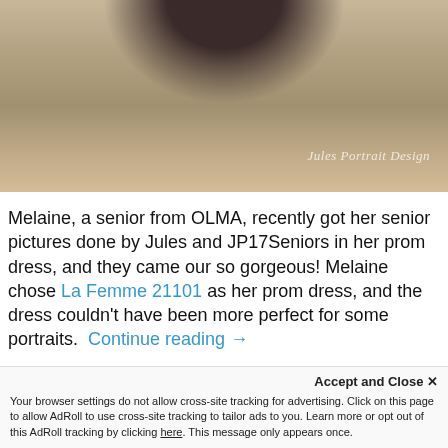[Figure (photo): Vintage-toned outdoor portrait photo showing the lower portion of a person standing on dry grass, with watermark 'Jules Portrait Design' in lower right]
Melaine, a senior from OLMA, recently got her senior pictures done by Jules and JP17Seniors in her prom dress, and they came our so gorgeous! Melaine chose La Femme 21101 as her prom dress, and the dress couldn't have been more perfect for some portraits. Continue reading →
[Figure (infographic): Social sharing buttons row: green share, Facebook, Twitter, Pinterest, Email]
Accept and Close ✕
Your browser settings do not allow cross-site tracking for advertising. Click on this page to allow AdRoll to use cross-site tracking to tailor ads to you. Learn more or opt out of this AdRoll tracking by clicking here. This message only appears once.